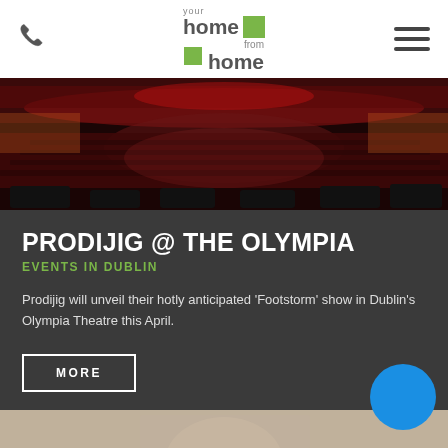your home from home
[Figure (photo): Interior of a large theatre with red seats, stage monitors in foreground, ornate red balconies, dramatic red and dark lighting]
PRODIJIG @ THE OLYMPIA
EVENTS IN DUBLIN
Prodijig will unveil their hotly anticipated 'Footstorm' show in Dublin's Olympia Theatre this April.
MORE
[Figure (photo): Bottom strip of a person, partial view]